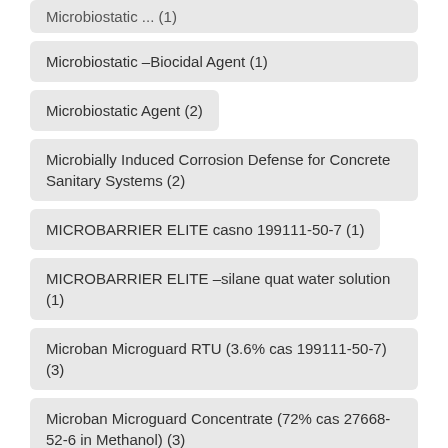Microbiostatic –Biocidal Agent (1)
Microbiostatic Agent (2)
Microbially Induced Corrosion Defense for Concrete Sanitary Systems (2)
MICROBARRIER ELITE casno 199111-50-7 (1)
MICROBARRIER ELITE –silane quat water solution (1)
Microban Microguard RTU (3.6% cas 199111-50-7) (3)
Microban Microguard Concentrate (72% cas 27668-52-6 in Methanol) (3)
Microban Excalibur water solution 3.6% (1)
Microban Excalibur for Concrete Corrosion (1)
Microban Excalibur as Antimicrobial concrete admixtures (1)